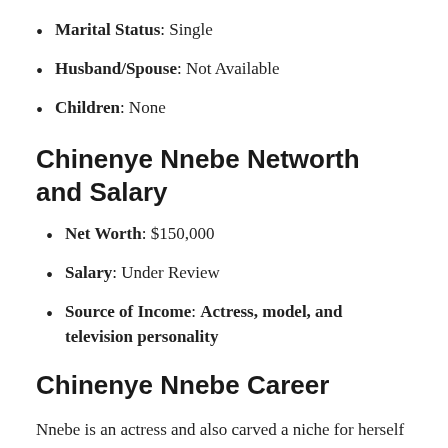Marital Status: Single
Husband/Spouse: Not Available
Children: None
Chinenye Nnebe Networth and Salary
Net Worth: $150,000
Salary: Under Review
Source of Income: Actress, model, and television personality
Chinenye Nnebe Career
Nnebe is an actress and also carved a niche for herself in the modeling industry thanks to her